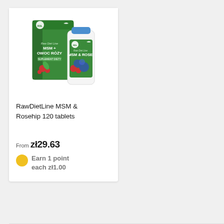[Figure (photo): Product photo of RawDietLine MSM & Rosehip supplement — a green box and white tablet bottle with MSM & ROSE branding]
RawDietLine MSM & Rosehip 120 tablets
From zł29.63
Earn 1 point each zł1.00